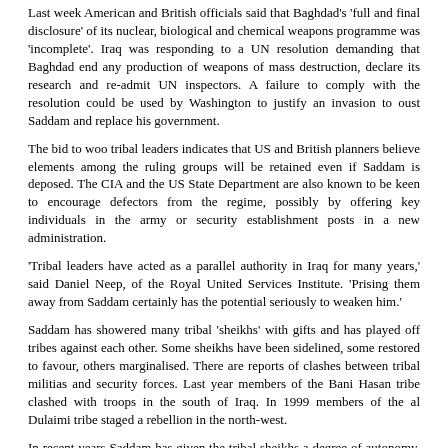Last week American and British officials said that Baghdad's 'full and final disclosure' of its nuclear, biological and chemical weapons programme was 'incomplete'. Iraq was responding to a UN resolution demanding that Baghdad end any production of weapons of mass destruction, declare its research and re-admit UN inspectors. A failure to comply with the resolution could be used by Washington to justify an invasion to oust Saddam and replace his government.
The bid to woo tribal leaders indicates that US and British planners believe elements among the ruling groups will be retained even if Saddam is deposed. The CIA and the US State Department are also known to be keen to encourage defectors from the regime, possibly by offering key individuals in the army or security establishment posts in a new administration.
'Tribal leaders have acted as a parallel authority in Iraq for many years,' said Daniel Neep, of the Royal United Services Institute. 'Prising them away from Saddam certainly has the potential seriously to weaken him.'
Saddam has showered many tribal 'sheikhs' with gifts and has played off tribes against each other. Some sheikhs have been sidelined, some restored to favour, others marginalised. There are reports of clashes between tribal militias and security forces. Last year members of the Bani Hasan tribe clashed with troops in the south of Iraq. In 1999 members of the al Dulaimi tribe staged a rebellion in the north-west.
In recent years Saddam has given the tribal sheikhs a degree of autonomy, allowing them to dispense justice among their own people. Loyal leaders are rewarded by subsidies as well as roads and other public works built for their followers. 'The logic is, if Saddam can buy them, then so can the Americans,' said one tribal leader who fled to the UK. The CIA was recently given more than $200m (Â£130m) to pay for covert operations in Iraq.
British officials and specialists, mainly from the Foreign Office, are understood to be supporting the American initiative in a variety of roles. The British, with a tradition of covert operations in the Middle East going back to the days of Lawrence of Arabia and the First World War, have a wealth of experience and expertise that the Americans have been